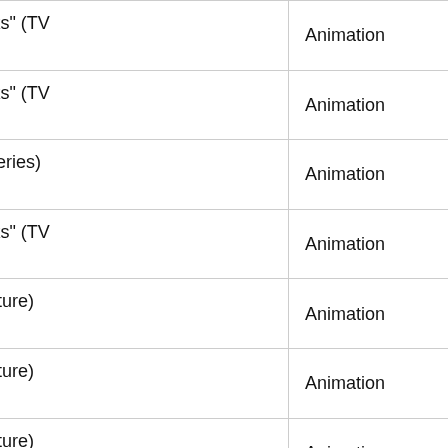| Title | Type |
| --- | --- |
| Jakers "Piggley Winks" (TV Series) Milkmania | Animation |
| Jakers "Piggley Winks" (TV Series) Neighbor | Animation |
| Lilo and Stitch (TV Series) Ace | Animation |
| Jakers "Piggley Winks" (TV Series) Pic Perf | Animation |
| Simsala Grimm (Feature) Sequence 059 | Animation |
| Simsala Grimm (Feature) Sequence 074 | Animation |
| Simsala Grimm (Feature) Sequence 107 | Animation |
| Simsala Grimm (Feature) Sequence 071 | Animation |
| Simsala Grimm (Feature) Sequence 121 | Animation |